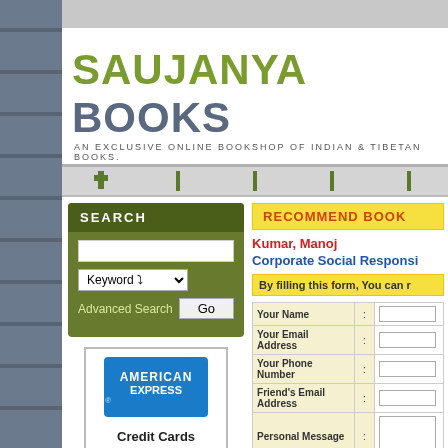SAUJANYA BOOKS
AN EXCLUSIVE ONLINE BOOKSHOP OF INDIAN & TIBETAN BOOKS.
SEARCH
Advanced Search  Go
[Figure (logo): American Express credit card logo with blue background and white text]
Credit Cards
RECOMMEND BOOK
Kumar, Manoj
Corporate Social Responsi...
By filling this form, You can r...
| Field | : | Input |
| --- | --- | --- |
| Your Name | : |  |
| Your Email Address | : |  |
| Your Phone Number | : |  |
| Friend's Email Address | : |  |
| Personal Message | : |  |